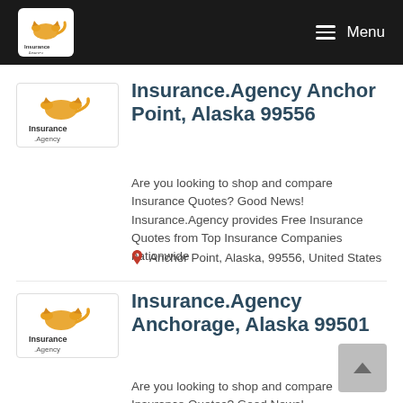Insurance.Agency — Menu
Insurance.Agency Anchor Point, Alaska 99556
Are you looking to shop and compare Insurance Quotes? Good News! Insurance.Agency provides Free Insurance Quotes from Top Insurance Companies nationwide
Anchor Point, Alaska, 99556, United States
Insurance.Agency Anchorage, Alaska 99501
Are you looking to shop and compare Insurance Quotes? Good News! Insurance.Agency provides Free Insurance Quotes from Top Insurance Companies nationwide
Anchorage, Alaska, 99501, United States